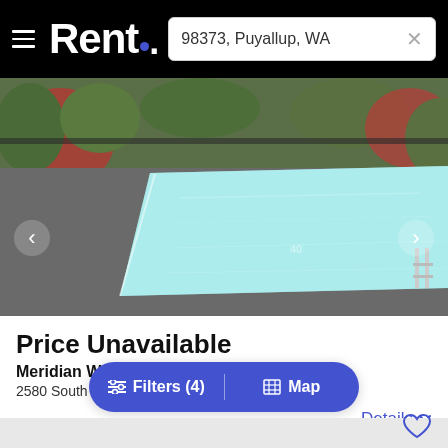Rent. — 98373, Puyallup, WA
[Figure (photo): Outdoor swimming pool area with lounge chairs and greenery surrounding the pool deck]
Price Unavailable
Meridian West Apartments
2580 South Meridian, Puyallup, WA, 98373
Details
Filters (4) | Map